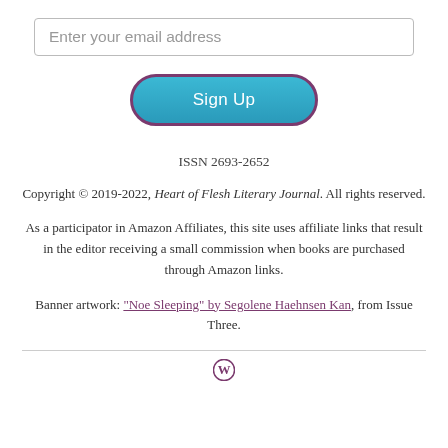Enter your email address
[Figure (other): Sign Up button — rounded pill-shaped button in teal/cyan with dark purple border, white text reading 'Sign Up']
ISSN 2693-2652
Copyright © 2019-2022, Heart of Flesh Literary Journal. All rights reserved.
As a participator in Amazon Affiliates, this site uses affiliate links that result in the editor receiving a small commission when books are purchased through Amazon links.
Banner artwork: "Noe Sleeping" by Segolene Haehnsen Kan, from Issue Three.
[Figure (logo): WordPress logo — circular W symbol in dark purple/maroon]